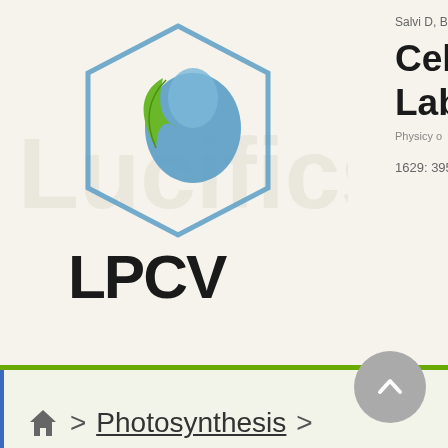[Figure (logo): LPCV Cell & Plant Physiology Laboratory logo with hexagonal shape containing a leaf and water droplet icon, with text LPCV below]
Salvi D, Bournais S,
Cell & Plant P
Laboratory
1629: 395–506
> Photosynthesis >
[Figure (logo): Humana Press logo with sunburst icon and text Humana Press in white on green background]
[Figure (other): Gray circular scroll-to-top button with upward chevron arrow]